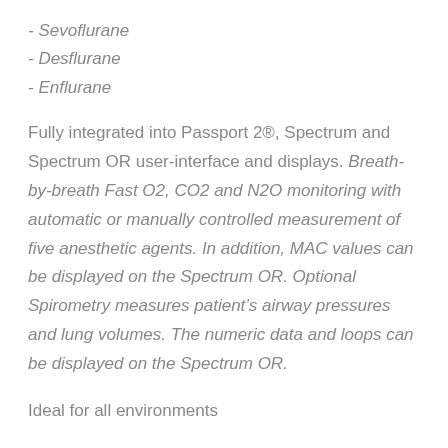- Sevoflurane
- Desflurane
- Enflurane
Fully integrated into Passport 2®, Spectrum and Spectrum OR user-interface and displays. Breath-by-breath Fast O2, CO2 and N2O monitoring with automatic or manually controlled measurement of five anesthetic agents. In addition, MAC values can be displayed on the Spectrum OR. Optional Spirometry measures patient’s airway pressures and lung volumes. The numeric data and loops can be displayed on the Spectrum OR.
Ideal for all environments